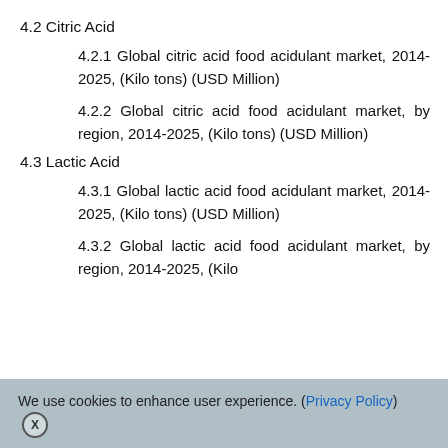4.2 Citric Acid
4.2.1 Global citric acid food acidulant market, 2014-2025, (Kilo tons) (USD Million)
4.2.2 Global citric acid food acidulant market, by region, 2014-2025, (Kilo tons) (USD Million)
4.3 Lactic Acid
4.3.1 Global lactic acid food acidulant market, 2014-2025, (Kilo tons) (USD Million)
4.3.2 Global lactic acid food acidulant market, by region, 2014-2025, (Kilo
We use cookies to enhance user experience. (Privacy Policy) X